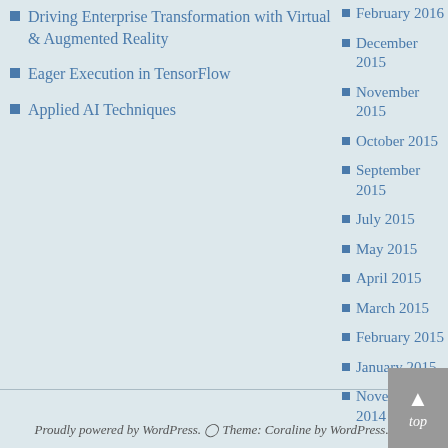Driving Enterprise Transformation with Virtual & Augmented Reality
Eager Execution in TensorFlow
Applied AI Techniques
February 2016
December 2015
November 2015
October 2015
September 2015
July 2015
May 2015
April 2015
March 2015
February 2015
January 2015
November 2014
Proudly powered by WordPress. Theme: Coraline by WordPress.com.